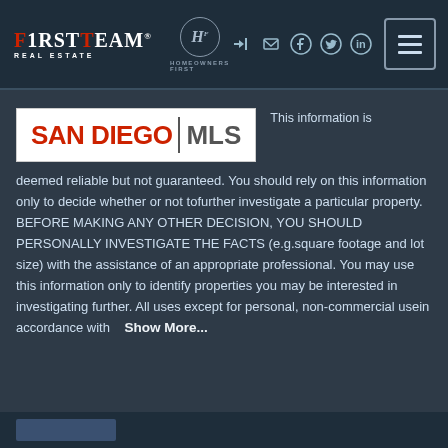FirstTeam Real Estate — Homeowners First — Navigation header with social icons and menu button
[Figure (logo): San Diego MLS logo: red 'SAN DIEGO' text, vertical bar, grey 'MLS' text on white background]
This information is deemed reliable but not guaranteed. You should rely on this information only to decide whether or not tofurther investigate a particular property. BEFORE MAKING ANY OTHER DECISION, YOU SHOULD PERSONALLY INVESTIGATE THE FACTS (e.g.square footage and lot size) with the assistance of an appropriate professional. You may use this information only to identify properties you may be interested in investigating further. All uses except for personal, non-commercial usein accordance with   Show More...
Bottom bar with MLS logo